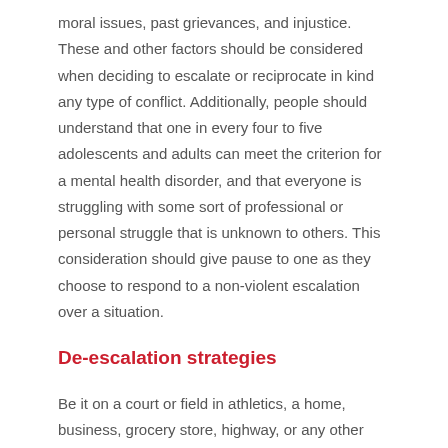moral issues, past grievances, and injustice. These and other factors should be considered when deciding to escalate or reciprocate in kind any type of conflict. Additionally, people should understand that one in every four to five adolescents and adults can meet the criterion for a mental health disorder, and that everyone is struggling with some sort of professional or personal struggle that is unknown to others. This consideration should give pause to one as they choose to respond to a non-violent escalation over a situation.
De-escalation strategies
Be it on a court or field in athletics, a home, business, grocery store, highway, or any other situation, some de-escalation strategies to employ include:
1.  Situational awareness. Be aware of situation and